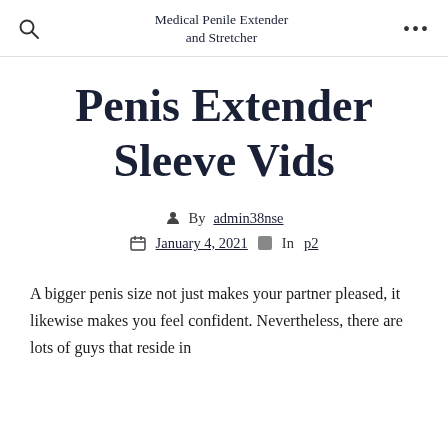Medical Penile Extender and Stretcher
Penis Extender Sleeve Vids
By admin38nse
January 4, 2021  In p2
A bigger penis size not just makes your partner pleased, it likewise makes you feel confident. Nevertheless, there are lots of guys that reside in